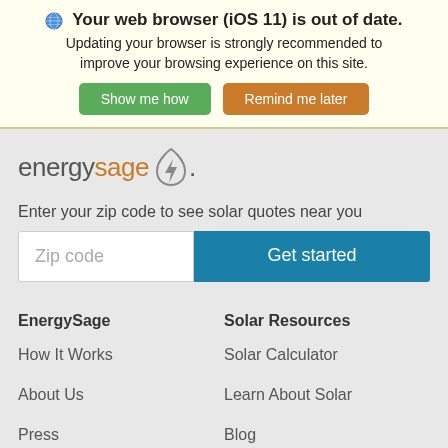🌐 Your web browser (iOS 11) is out of date. Updating your browser is strongly recommended to improve your browsing experience on this site.
Show me how | Remind me later
[Figure (logo): EnergySage logo with leaf/lightning bolt icon]
Enter your zip code to see solar quotes near you
Zip code | Get started
EnergySage
Solar Resources
How It Works
Solar Calculator
About Us
Learn About Solar
Press
Blog
Careers
Solar Rebates